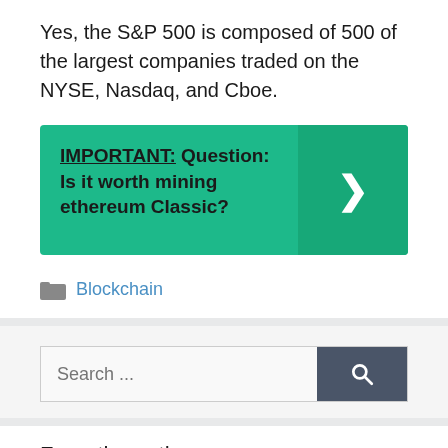Yes, the S&P 500 is composed of 500 of the largest companies traded on the NYSE, Nasdaq, and Cboe.
[Figure (infographic): Green callout box with bold text: IMPORTANT: Question: Is it worth mining ethereum Classic? with a right-facing arrow chevron on the right side.]
Blockchain
[Figure (other): Search bar with placeholder text 'Search ...' and a dark gray search button with magnifying glass icon.]
From the author